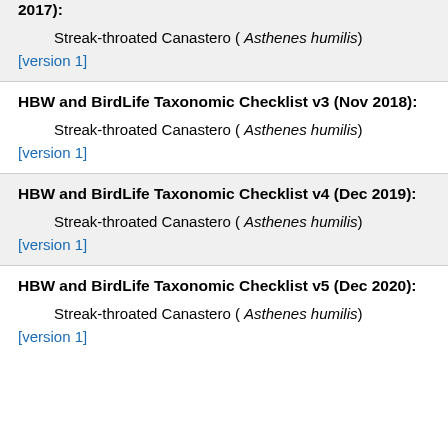2017):
Streak-throated Canastero ( Asthenes humilis)
[version 1]
HBW and BirdLife Taxonomic Checklist v3 (Nov 2018):
Streak-throated Canastero ( Asthenes humilis)
[version 1]
HBW and BirdLife Taxonomic Checklist v4 (Dec 2019):
Streak-throated Canastero ( Asthenes humilis)
[version 1]
HBW and BirdLife Taxonomic Checklist v5 (Dec 2020):
Streak-throated Canastero ( Asthenes humilis)
[version 1]